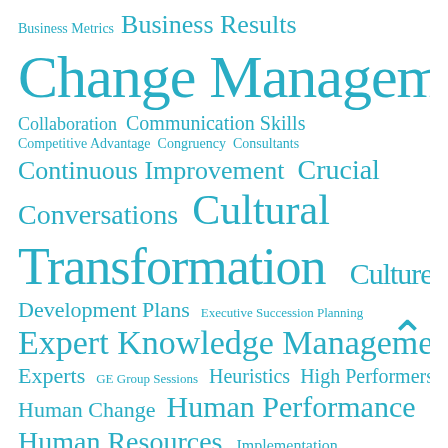[Figure (infographic): Word cloud of business and organizational development terms in varying font sizes, all in teal/cyan color on white background. Terms include Business Metrics, Business Results, Change Management, Collaboration, Communication Skills, Competitive Advantage, Congruency, Consultants, Continuous Improvement, Crucial Conversations, Cultural Transformation, Culture, Delivery Manager, Development Plans, Executive Succession Planning, Expert Knowledge Management, Experts, GE Group Sessions, Heuristics, High Performers, Human Change, Human Performance, Human Resources, Implementation, Increased Performance, Informal Knowledge, Informal Smarts, Information Systems, and more.]